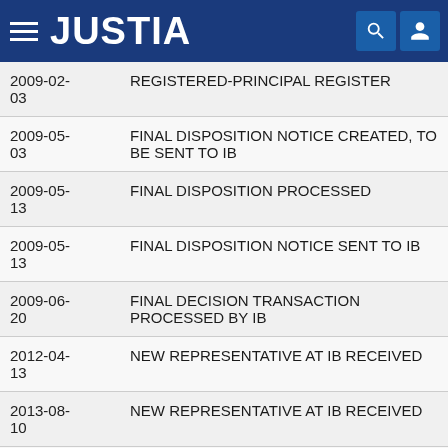JUSTIA
| Date | Event |
| --- | --- |
| 2009-02-03 | REGISTERED-PRINCIPAL REGISTER |
| 2009-05-03 | FINAL DISPOSITION NOTICE CREATED, TO BE SENT TO IB |
| 2009-05-13 | FINAL DISPOSITION PROCESSED |
| 2009-05-13 | FINAL DISPOSITION NOTICE SENT TO IB |
| 2009-06-20 | FINAL DECISION TRANSACTION PROCESSED BY IB |
| 2012-04-13 | NEW REPRESENTATIVE AT IB RECEIVED |
| 2013-08-10 | NEW REPRESENTATIVE AT IB RECEIVED |
| 2015-01-... | TEAS SECTION 71 & 15 RECEIVED |